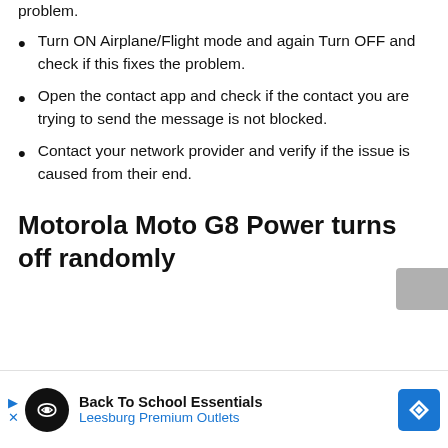problem.
Turn ON Airplane/Flight mode and again Turn OFF and check if this fixes the problem.
Open the contact app and check if the contact you are trying to send the message is not blocked.
Contact your network provider and verify if the issue is caused from their end.
Motorola Moto G8 Power turns off randomly
[Figure (infographic): Advertisement banner for Back To School Essentials - Leesburg Premium Outlets]